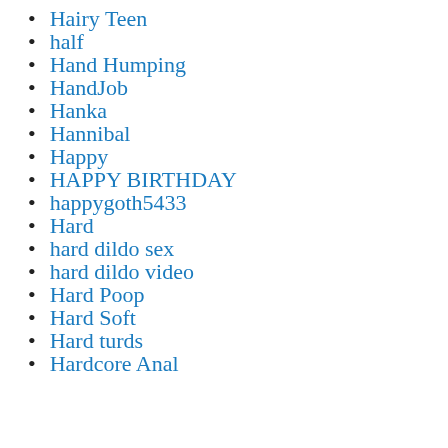Hairy Teen
half
Hand Humping
HandJob
Hanka
Hannibal
Happy
HAPPY BIRTHDAY
happygoth5433
Hard
hard dildo sex
hard dildo video
Hard Poop
Hard Soft
Hard turds
Hardcore Anal